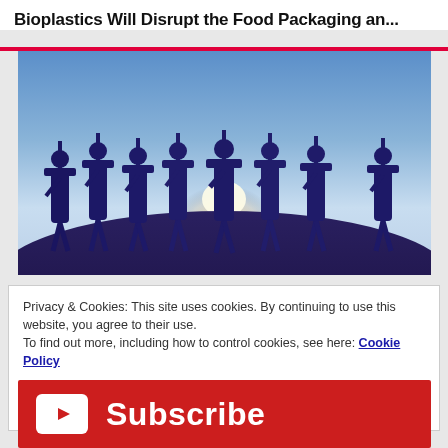Bioplastics Will Disrupt the Food Packaging an...
[Figure (photo): Silhouette of graduate students in caps and gowns jumping with arms raised against a blue sky with sunlight behind them]
Privacy & Cookies: This site uses cookies. By continuing to use this website, you agree to their use.
To find out more, including how to control cookies, see here: Cookie Policy
Close and accept
[Figure (other): Red Subscribe button with YouTube play icon on the left and 'Subscribe' text in white]